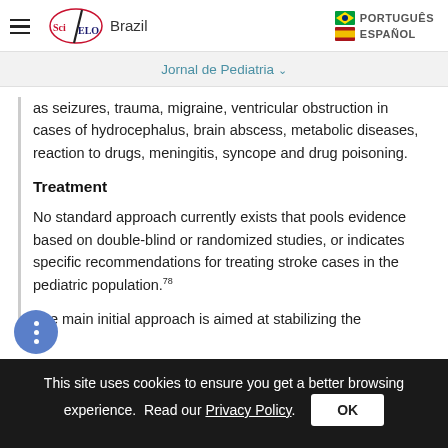SciELO Brazil | PORTUGUÊS | ESPAÑOL
Jornal de Pediatria
as seizures, trauma, migraine, ventricular obstruction in cases of hydrocephalus, brain abscess, metabolic diseases, reaction to drugs, meningitis, syncope and drug poisoning.
Treatment
No standard approach currently exists that pools evidence based on double-blind or randomized studies, or indicates specific recommendations for treating stroke cases in the pediatric population.78
The main initial approach is aimed at stabilizing the
This site uses cookies to ensure you get a better browsing experience. Read our Privacy Policy.